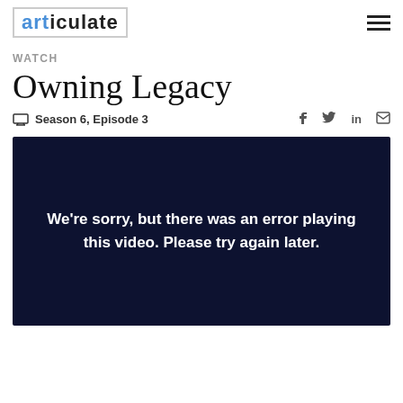articulate
WATCH
Owning Legacy
Season 6, Episode 3
[Figure (screenshot): Dark navy video player box showing error message: We're sorry, but there was an error playing this video. Please try again later.]